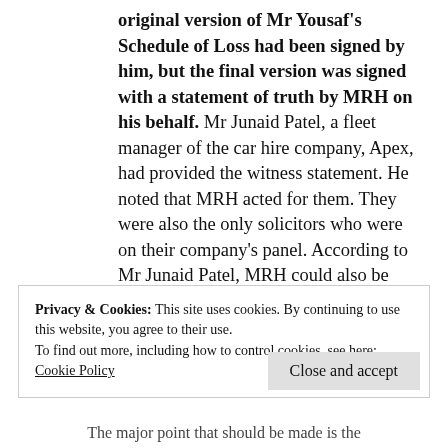original version of Mr Yousaf's Schedule of Loss had been signed by him, but the final version was signed with a statement of truth by MRH on his behalf. Mr Junaid Patel, a fleet manager of the car hire company, Apex, had provided the witness statement. He noted that MRH acted for them. They were also the only solicitors who were on their company's panel. According to Mr Junaid Patel, MRH could also be involved in suing those who did not pay their credit hire bills"
Privacy & Cookies: This site uses cookies. By continuing to use this website, you agree to their use.
To find out more, including how to control cookies, see here: Cookie Policy
Close and accept
The major point that should be made is the